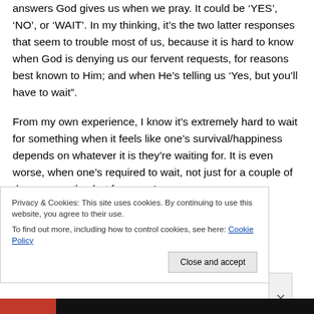answers God gives us when we pray. It could be 'YES', 'NO', or 'WAIT'. In my thinking, it's the two latter responses that seem to trouble most of us, because it is hard to know when God is denying us our fervent requests, for reasons best known to Him; and when He's telling us 'Yes, but you'll have to wait".
From my own experience, I know it's extremely hard to wait for something when it feels like one's survival/happiness depends on whatever it is they're waiting for. It is even worse, when one's required to wait, not just for a couple of days or months, but for years!
Privacy & Cookies: This site uses cookies. By continuing to use this website, you agree to their use.
To find out more, including how to control cookies, see here: Cookie Policy